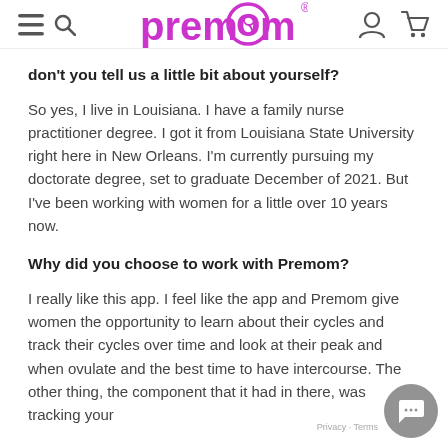[Figure (logo): Premom logo with purple text and pregnancy/baby icon]
don't you tell us a little bit about yourself?
So yes, I live in Louisiana. I have a family nurse practitioner degree. I got it from Louisiana State University right here in New Orleans. I'm currently pursuing my doctorate degree, set to graduate December of 2021. But I've been working with women for a little over 10 years now.
Why did you choose to work with Premom?
I really like this app. I feel like the app and Premom give women the opportunity to learn about their cycles and track their cycles over time and look at their peak and when ovulate and the best time to have intercourse. The other thing, the component that it had in there, was tracking your